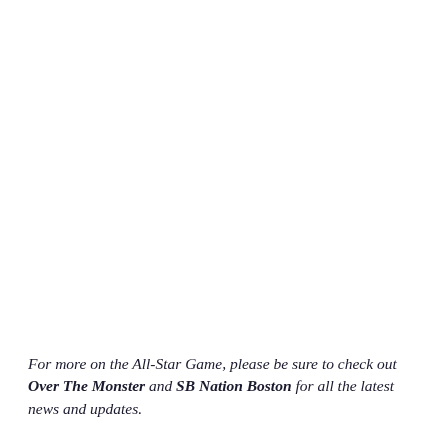For more on the All-Star Game, please be sure to check out Over The Monster and SB Nation Boston for all the latest news and updates.